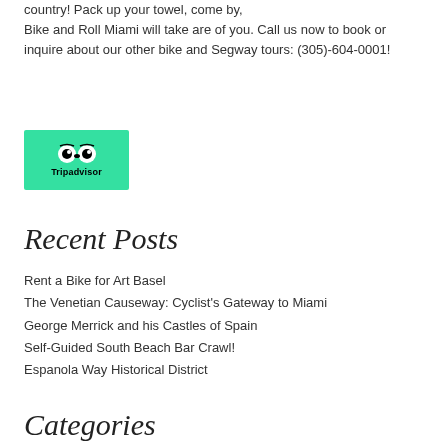country! Pack up your towel, come by, Bike and Roll Miami will take are of you. Call us now to book or inquire about our other bike and Segway tours: (305)-604-0001!
[Figure (logo): TripAdvisor logo on green background with owl eyes icon and 'Tripadvisor' text]
Recent Posts
Rent a Bike for Art Basel
The Venetian Causeway: Cyclist's Gateway to Miami
George Merrick and his Castles of Spain
Self-Guided South Beach Bar Crawl!
Espanola Way Historical District
Categories